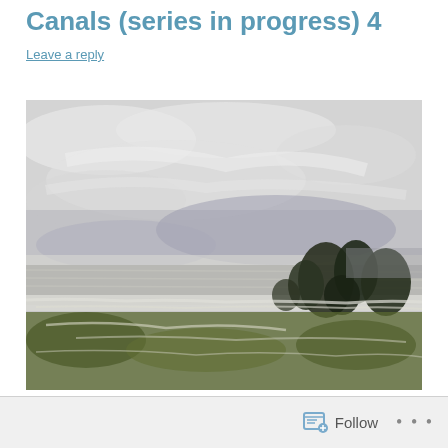Canals (series in progress) 4
Leave a reply
[Figure (illustration): A painting depicting a canal landscape. The upper two-thirds show a pale grey and white heavily textured sky. The lower portion shows a flat canal with dark trees or shrubs on the right, and olive green vegetation along the bottom foreground. The overall palette is muted greys, whites, and muted greens.]
Follow  ···